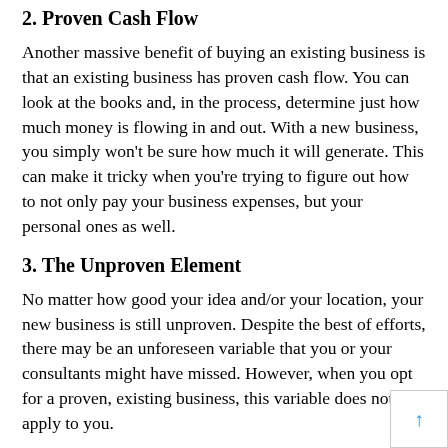2. Proven Cash Flow
Another massive benefit of buying an existing business is that an existing business has proven cash flow. You can look at the books and, in the process, determine just how much money is flowing in and out. With a new business, you simply won’t be sure how much it will generate. This can make it tricky when you’re trying to figure out how to not only pay your business expenses, but your personal ones as well.
3. The Unproven Element
No matter how good your idea and/or your location, your new business is still unproven. Despite the best of efforts, there may be an unforeseen variable that you or your consultants might have missed. However, when you opt for a proven, existing business, this variable does not apply to you.